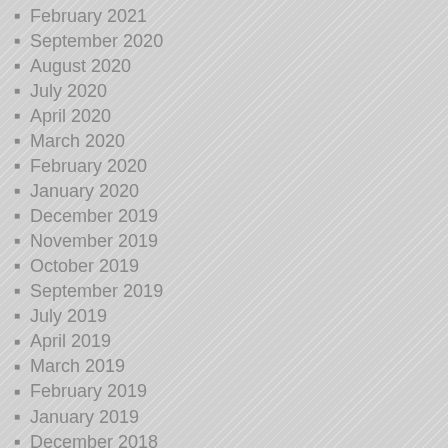February 2021
September 2020
August 2020
July 2020
April 2020
March 2020
February 2020
January 2020
December 2019
November 2019
October 2019
September 2019
July 2019
April 2019
March 2019
February 2019
January 2019
December 2018
September 2018
May 2018
April 2018
March 2018